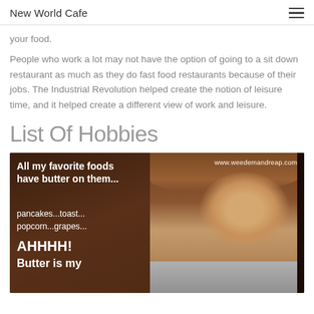New World Cafe
your food.
People who work a lot may not have the option of going to a sit down restaurant as much as they do fast food restaurants because of their jobs. The Industrial Revolution helped create the notion of leisure time, and it helped create a different view of work and leisure.
List Of Hobbies
[Figure (photo): Meme image with dark brown background showing a surprised man. Left side has white text: 'All my favorite foods have butter on them... pancakes...toast... popcorn...grapes... AHHHH! Butter is my' with URL www.weedemandreap.com in top right corner.]